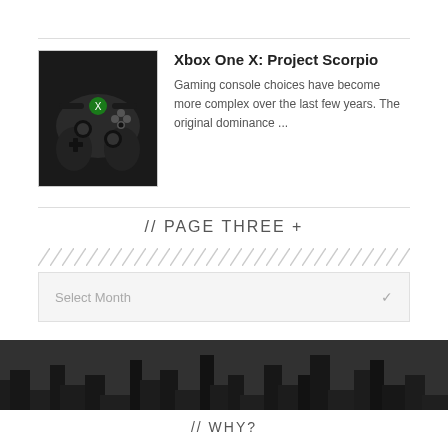[Figure (photo): Xbox controller on dark background]
Xbox One X: Project Scorpio
Gaming console choices have become more complex over the last few years. The original dominance ...
// PAGE THREE +
Select Month
[Figure (photo): Aerial city skyline background, dark greyscale]
// WHY?